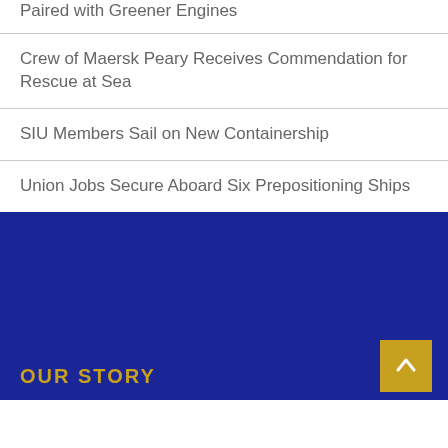Paired with Greener Engines
Crew of Maersk Peary Receives Commendation for Rescue at Sea
SIU Members Sail on New Containership
Union Jobs Secure Aboard Six Prepositioning Ships
OUR STORY